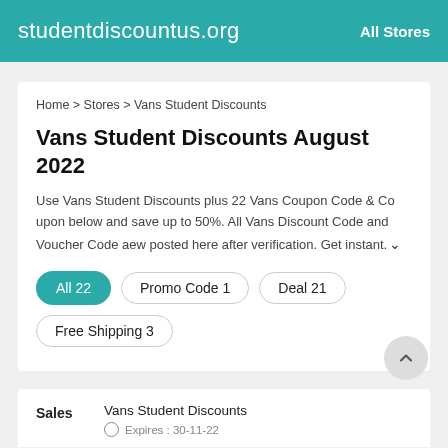studentdiscountus.org  All Stores
Home > Stores > Vans Student Discounts
Vans Student Discounts August 2022
Use Vans Student Discounts plus 22 Vans Coupon Code & Coupon below and save up to 50%. All Vans Discount Code and Voucher Code aew posted here after verification. Get instant.
All 22
Promo Code 1
Deal 21
Free Shipping 3
Sales
Vans Student Discounts
Expires : 30-11-22